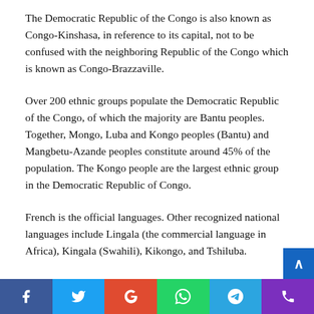The Democratic Republic of the Congo is also known as Congo-Kinshasa, in reference to its capital, not to be confused with the neighboring Republic of the Congo which is known as Congo-Brazzaville.
Over 200 ethnic groups populate the Democratic Republic of the Congo, of which the majority are Bantu peoples. Together, Mongo, Luba and Kongo peoples (Bantu) and Mangbetu-Azande peoples constitute around 45% of the population. The Kongo people are the largest ethnic group in the Democratic Republic of Congo.
French is the official languages. Other recognized national languages include Lingala (the commercial language in Africa), Kingala (Swahili), Kikongo, and Tshiluba.
The Congolese franc serves as the primary form of currency in